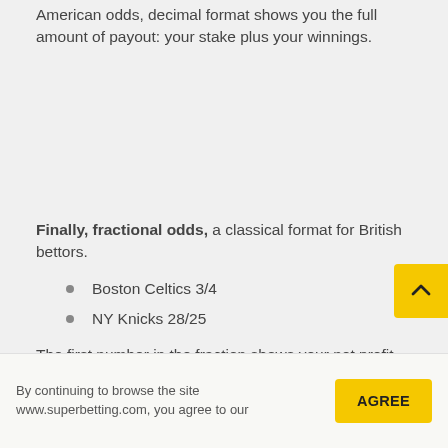American odds, decimal format shows you the full amount of payout: your stake plus your winnings.
Finally, fractional odds, a classical format for British bettors.
Boston Celtics 3/4
NY Knicks 28/25
The first number in the fraction shows your net profit, the second shows the stake amount. Therefore bet...
By continuing to browse the site www.superbetting.com, you agree to our